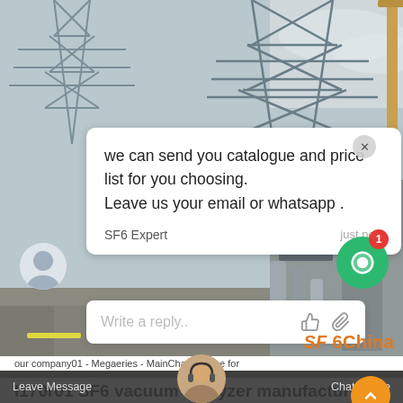[Figure (screenshot): Industrial/power transmission tower background photo with chat overlay popup showing SF6 Expert message]
we can send you catalogue and price list for you choosing.
Leave us your email or whatsapp .
SF6 Expert    just now
Write a reply..
SF 6China
l170r01 SF6 vacuum analyzer manufacturers
our company01 - Megaeries - MainChat Onlince for
Leave Message
Chat Online